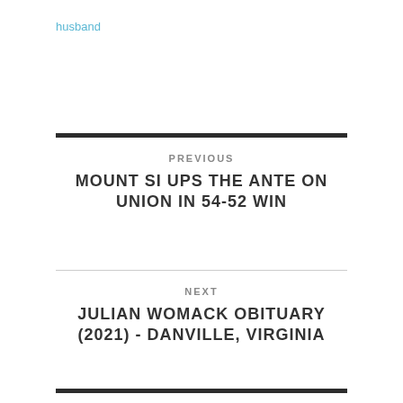husband
PREVIOUS
MOUNT SI UPS THE ANTE ON UNION IN 54-52 WIN
NEXT
JULIAN WOMACK OBITUARY (2021) - DANVILLE, VIRGINIA